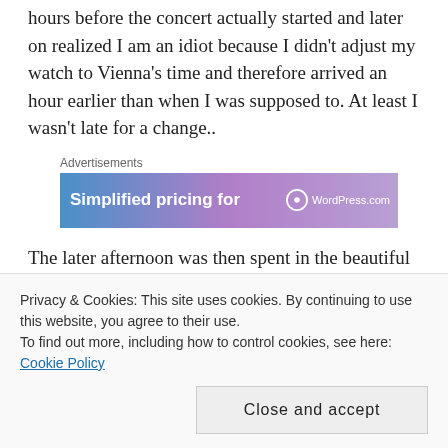hours before the concert actually started and later on realized I am an idiot because I didn't adjust my watch to Vienna's time and therefore arrived an hour earlier than when I was supposed to. At least I wasn't late for a change..
[Figure (other): Advertisement banner for WordPress.com showing 'Simplified pricing for' text with WordPress logo]
The later afternoon was then spent in the beautiful Burggarten park (next to yet another palace), feasting
Privacy & Cookies: This site uses cookies. By continuing to use this website, you agree to their use. To find out more, including how to control cookies, see here: Cookie Policy